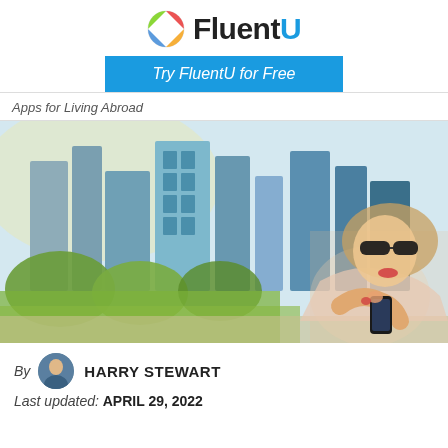FluentU - Try FluentU for Free
Apps for Living Abroad
[Figure (photo): Woman with sunglasses and red lipstick looking at her phone, with a modern city skyline and green trees in the background]
By HARRY STEWART
Last updated: APRIL 29, 2022